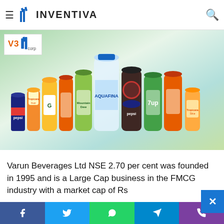Varun Beverages Ltd's price can reach the set...
[Figure (logo): Inventiva logo with hamburger menu and search icon]
[Figure (photo): Varun Beverages product lineup including Pepsi, Tropicana Frutz, Gatorade, Mountain Dew, Aquafina, Pepsi cola, 7up, Miranda, and Tropicana Slice bottles with VB Corp logo overlay]
Varun Beverages Ltd NSE 2.70 per cent was founded in 1995 and is a Large Cap business in the FMCG industry with a market cap of Rs